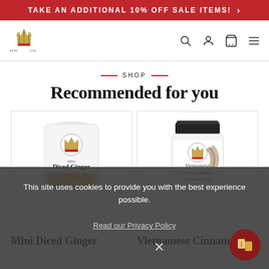TAKE AN ADDITIONAL 10% OFF SALE ITEMS! >
[Figure (logo): Brand logo with crown/wheat graphic, ESTD 1750 text]
— SHOP —
Recommended for you
[Figure (photo): Mini Diced Ginger product in white resealable bag]
[Figure (photo): Vietnamese Cinnamon product in white glass jar with black lid]
Mini Diced Ginger
Vietnamese Cinnamon
This site uses cookies to provide you with the best experience possible.

Read our Privacy Policy
[Figure (illustration): Chat/support button icon, dark red circle]